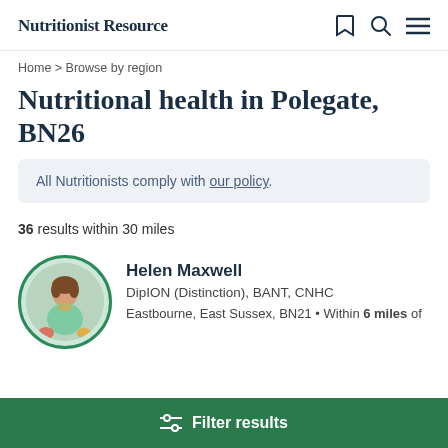Nutritionist Resource
Home > Browse by region
Nutritional health in Polegate, BN26
All Nutritionists comply with our policy.
36 results within 30 miles
[Figure (photo): Circular profile photo of Helen Maxwell, a woman wearing a light blue/mint cardigan, standing near colorful vegetables]
Helen Maxwell
DipION (Distinction), BANT, CNHC
Eastbourne, East Sussex, BN21 • Within 6 miles of
Filter results